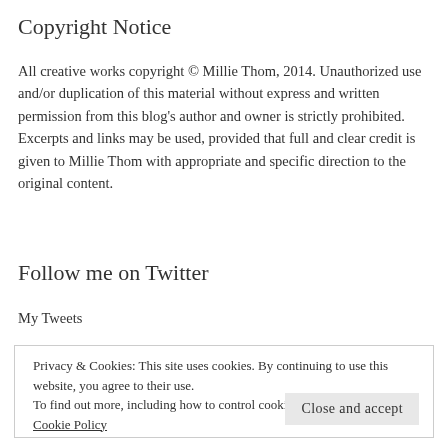Copyright Notice
All creative works copyright © Millie Thom, 2014. Unauthorized use and/or duplication of this material without express and written permission from this blog's author and owner is strictly prohibited. Excerpts and links may be used, provided that full and clear credit is given to Millie Thom with appropriate and specific direction to the original content.
Follow me on Twitter
My Tweets
Privacy & Cookies: This site uses cookies. By continuing to use this website, you agree to their use.
To find out more, including how to control cookies, see here:
Cookie Policy
Close and accept